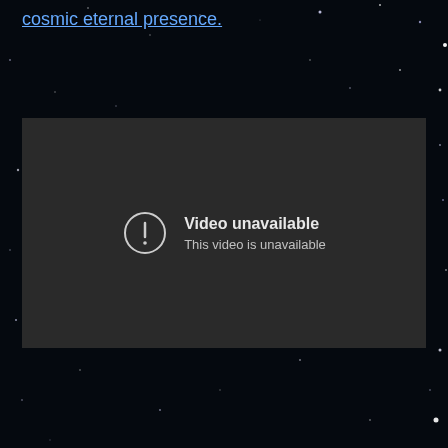cosmic eternal presence.
[Figure (screenshot): Embedded video player showing 'Video unavailable — This video is unavailable' error message on a dark grey background, within a webpage with a starfield/space background.]